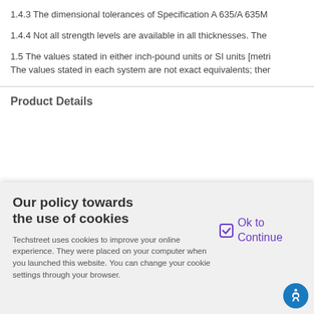1.4.3 The dimensional tolerances of Specification A 635/A 635M
1.4.4 Not all strength levels are available in all thicknesses. The
1.5 The values stated in either inch-pound units or SI units [metri
The values stated in each system are not exact equivalents; ther
Product Details
Our policy towards the use of cookies
Techstreet uses cookies to improve your online experience. They were placed on your computer when you launched this website. You can change your cookie settings through your browser.
Ok to Continue